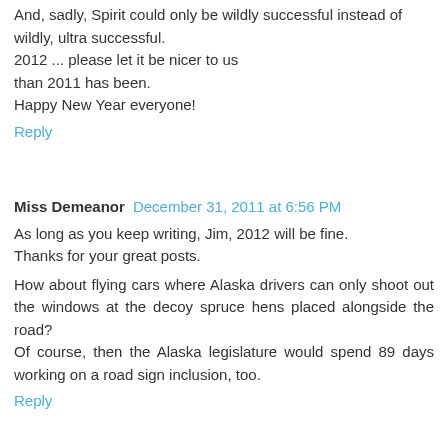And, sadly, Spirit could only be wildly successful instead of wildly, ultra successful.
2012 ... please let it be nicer to us
than 2011 has been.
Happy New Year everyone!
Reply
Miss Demeanor  December 31, 2011 at 6:56 PM
As long as you keep writing, Jim, 2012 will be fine.
Thanks for your great posts.

How about flying cars where Alaska drivers can only shoot out the windows at the decoy spruce hens placed alongside the road?
Of course, then the Alaska legislature would spend 89 days working on a road sign inclusion, too.
Reply
benlomond2  December 31, 2011 at 7:02 PM